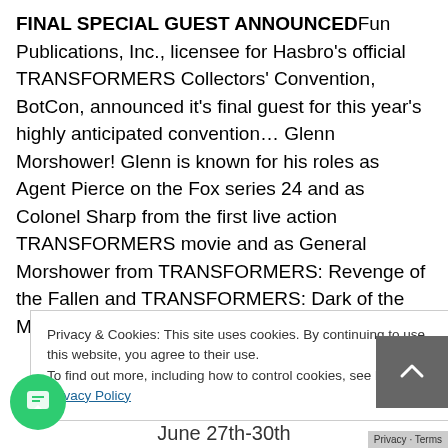FINAL SPECIAL GUEST ANNOUNCEDFun Publications, Inc., licensee for Hasbro's official TRANSFORMERS Collectors' Convention, BotCon, announced it's final guest for this year's highly anticipated convention… Glenn Morshower! Glenn is known for his roles as Agent Pierce on the Fox series 24 and as Colonel Sharp from the first live action TRANSFORMERS movie and as General Morshower from TRANSFORMERS: Revenge of the Fallen and TRANSFORMERS: Dark of the Moon.
Privacy & Cookies: This site uses cookies. By continuing to use this website, you agree to their use.
To find out more, including how to control cookies, see here: Privacy Policy
Close and accept
BotCon 2013
June 27th-30th